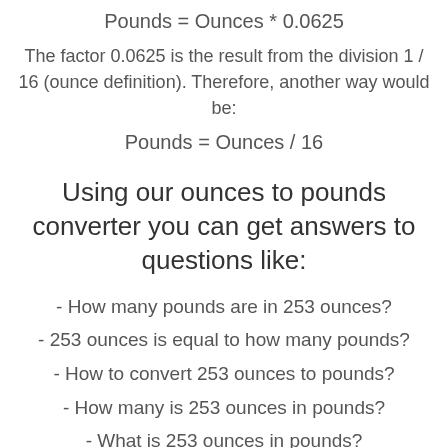The factor 0.0625 is the result from the division 1 / 16 (ounce definition). Therefore, another way would be:
Using our ounces to pounds converter you can get answers to questions like:
- How many pounds are in 253 ounces?
- 253 ounces is equal to how many pounds?
- How to convert 253 ounces to pounds?
- How many is 253 ounces in pounds?
- What is 253 ounces in pounds?